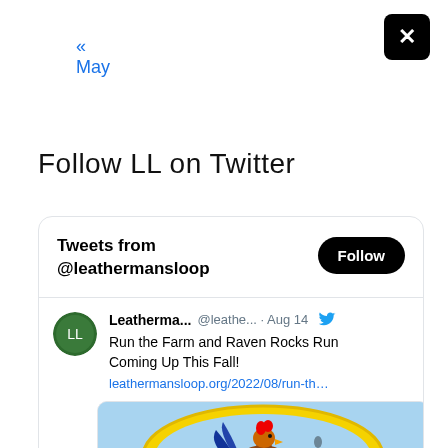« May
[Figure (other): Black rounded square button with white X (close button)]
Follow LL on Twitter
[Figure (screenshot): Twitter widget card showing 'Tweets from @leathermansloop' header with a Follow button, and a tweet from Leatherma... @leathe... Aug 14 saying 'Run the Farm and Raven Rocks Run Coming Up This Fall!' with link leathermansloop.org/2022/08/run-th... and a partial image of a rooster logo on blue background with yellow border]